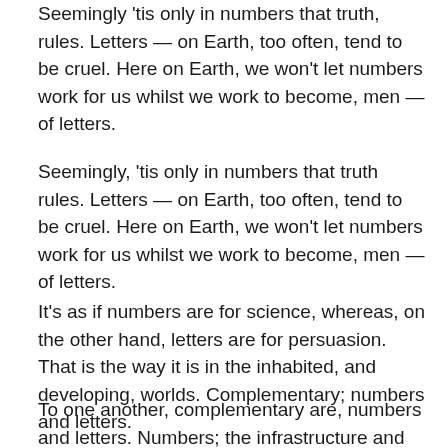Seemingly 'tis only in numbers that truth, rules. Letters — on Earth, too often, tend to be cruel. Here on Earth, we won't let numbers work for us whilst we work to become, men — of letters.
Seemingly, 'tis only in numbers that truth rules. Letters — on Earth, too often, tend to be cruel. Here on Earth, we won't let numbers work for us whilst we work to become, men — of letters.
It's as if numbers are for science, whereas, on the other hand, letters are for persuasion. That is the way it is in the inhabited, and developing, worlds. Complementary; numbers and letters.
To one another, complementary are, numbers and letters. Numbers; the infrastructure and glue that holds things together. Letters; the ether; atmosphere, around, the